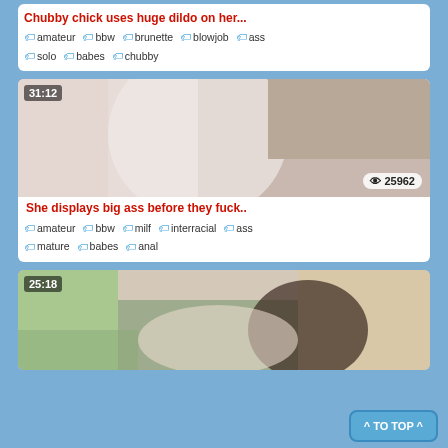[Figure (screenshot): Video thumbnail for first card (partially visible at top)]
amateur  bbw  brunette  blowjob  ass  solo  babes  chubby
[Figure (screenshot): Video thumbnail: 31:12 duration, 25962 views - She displays big ass before they fuck]
She displays big ass before they fuck..
amateur  bbw  milf  interracial  ass  mature  babes  anal
[Figure (screenshot): Video thumbnail: 25:18 duration - bottom card]
^ TO TOP ^